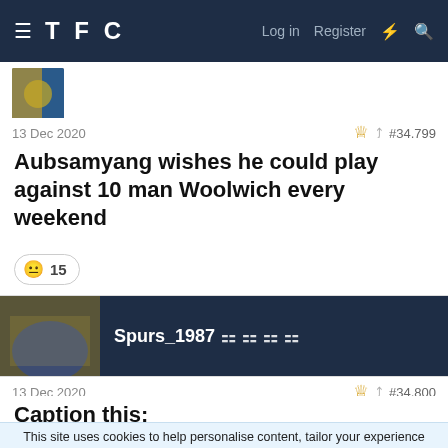TFC  Log in  Register
13 Dec 2020  #34,799
Aubsamyang wishes he could play against 10 man Woolwich every weekend
😐 15
Spurs_1987 🏆🏆🏆🏆
13 Dec 2020  #34,800
Caption this:
This site uses cookies to help personalise content, tailor your experience and to keep you logged in if you register.
By continuing to use this site, you are consenting to our use of cookies.